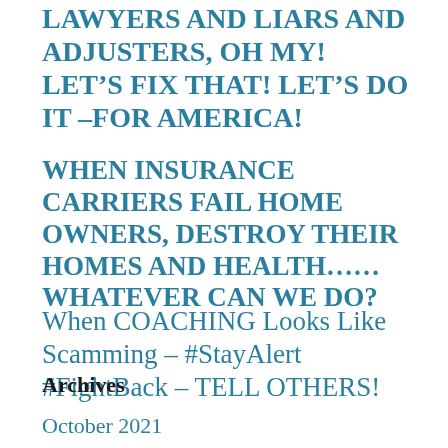LAWYERS AND LIARS AND ADJUSTERS, OH MY! LET'S FIX THAT! LET'S DO IT –FOR AMERICA!
WHEN INSURANCE CARRIERS FAIL HOME OWNERS, DESTROY THEIR HOMES AND HEALTH…… WHATEVER CAN WE DO?
When COACHING Looks Like Scamming – #StayAlert #FightBack – TELL OTHERS!
Archives
October 2021